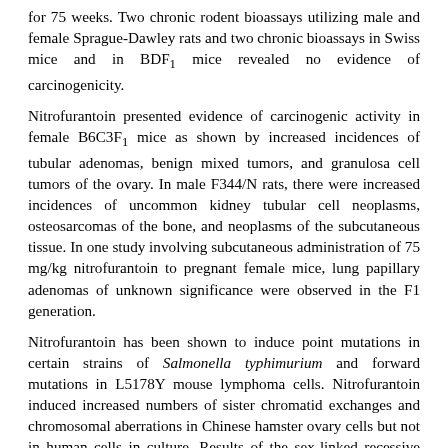for 75 weeks. Two chronic rodent bioassays utilizing male and female Sprague-Dawley rats and two chronic bioassays in Swiss mice and in BDF1 mice revealed no evidence of carcinogenicity.
Nitrofurantoin presented evidence of carcinogenic activity in female B6C3F1 mice as shown by increased incidences of tubular adenomas, benign mixed tumors, and granulosa cell tumors of the ovary. In male F344/N rats, there were increased incidences of uncommon kidney tubular cell neoplasms, osteosarcomas of the bone, and neoplasms of the subcutaneous tissue. In one study involving subcutaneous administration of 75 mg/kg nitrofurantoin to pregnant female mice, lung papillary adenomas of unknown significance were observed in the F1 generation.
Nitrofurantoin has been shown to induce point mutations in certain strains of Salmonella typhimurium and forward mutations in L5178Y mouse lymphoma cells. Nitrofurantoin induced increased numbers of sister chromatid exchanges and chromosomal aberrations in Chinese hamster ovary cells but not in human cells in culture. Results of the sex-linked recessive lethal assay in Drosophila were negative after administration of nitrofurantoin by feeding or by injection. Nitrofurantoin did not induce heritable mutation in the rodent models examined.
The significance of the carcinogenicity and mutagenicity findings relative to the therapeutic use of nitrofurantoin...